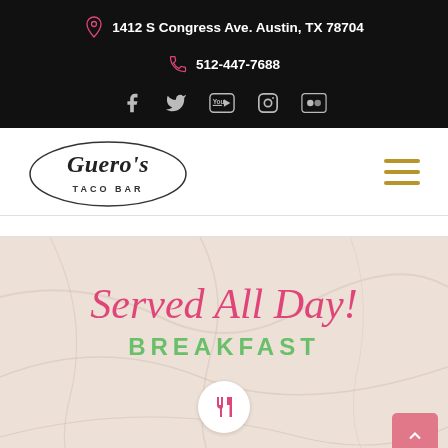1412 S Congress Ave. Austin, TX 78704
512-447-7688
[Figure (logo): Guero's Taco Bar logo with handwritten script style text]
Served All Day!
BREAKFAST